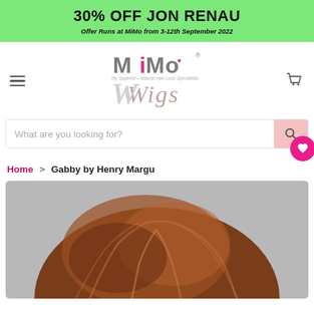30% OFF JON RENAU
Offer Runs at MiMo from 3-12th September 2022
[Figure (logo): MiMo Wigs logo with stylized M, i, M, o letters and a small heart, with 'Wigs' in large script below, and tagline text]
What are you looking for?
Home > Gabby by Henry Margu
[Figure (photo): Top portion of a woman's head wearing a short brown layered wig, on a grey background]